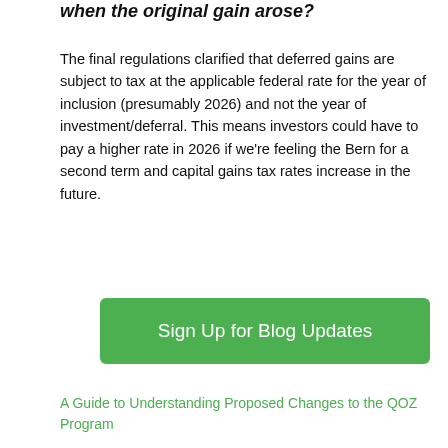when the original gain arose?
The final regulations clarified that deferred gains are subject to tax at the applicable federal rate for the year of inclusion (presumably 2026) and not the year of investment/deferral. This means investors could have to pay a higher rate in 2026 if we're feeling the Bern for a second term and capital gains tax rates increase in the future.
[Figure (other): Green button labeled 'Sign Up for Blog Updates']
A Guide to Understanding Proposed Changes to the QOZ Program